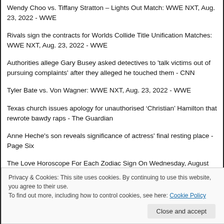Wendy Choo vs. Tiffany Stratton – Lights Out Match: WWE NXT, Aug. 23, 2022 - WWE
Rivals sign the contracts for Worlds Collide Title Unification Matches: WWE NXT, Aug. 23, 2022 - WWE
Authorities allege Gary Busey asked detectives to 'talk victims out of pursuing complaints' after they alleged he touched them - CNN
Tyler Bate vs. Von Wagner: WWE NXT, Aug. 23, 2022 - WWE
Texas church issues apology for unauthorised ‘Christian’ Hamilton that rewrote bawdy raps - The Guardian
Anne Heche's son reveals significance of actress' final resting place - Page Six
The Love Horoscope For Each Zodiac Sign On Wednesday, August 24, 2022 - YourTango
Privacy & Cookies: This site uses cookies. By continuing to use this website, you agree to their use.
To find out more, including how to control cookies, see here: Cookie Policy
Close and accept